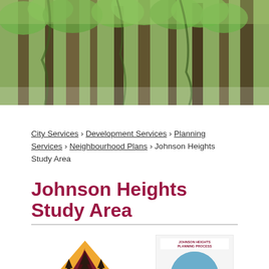[Figure (photo): Forest scene with tall trees covered in green moss, viewed from below.]
City Services › Development Services › Planning Services › Neighbourhood Plans › Johnson Heights Study Area
Johnson Heights Study Area
[Figure (logo): JHAIR logo with mountain/tree/people icon in orange, maroon and dark brown triangle shapes.]
[Figure (photo): Johnson Heights Planning Process document cover featuring a circular photo of a lake and hills.]